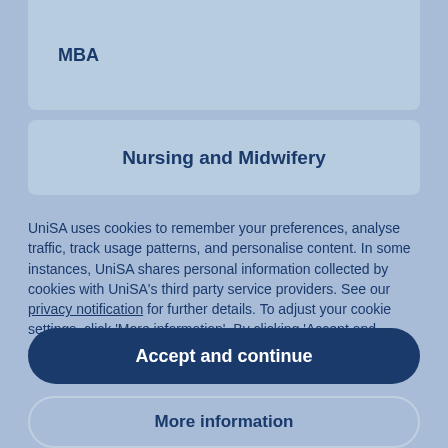MBA
Nursing and Midwifery
UniSA uses cookies to remember your preferences, analyse traffic, track usage patterns, and personalise content. In some instances, UniSA shares personal information collected by cookies with UniSA's third party service providers. See our privacy notification for further details. To adjust your cookie settings, click 'More information'. By clicking 'Accept and continue', you consent to our use of cookies.
Accept and continue
More information